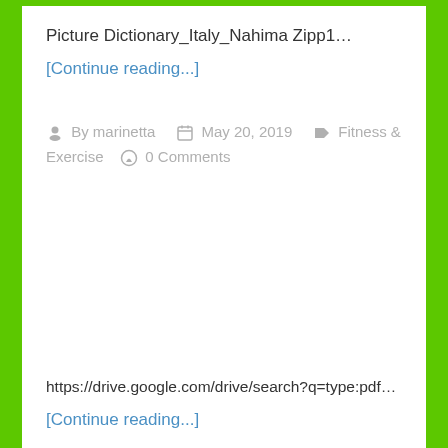Picture Dictionary_Italy_Nahima Zipp1…
[Continue reading...]
By marinetta   May 20, 2019   Fitness & Exercise   0 Comments
https://drive.google.com/drive/search?q=type:pdf…
[Continue reading...]